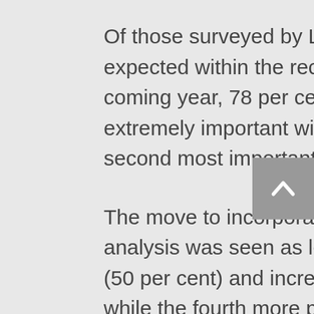Of those surveyed by LinkedIn about the trends expected within the recruitment sector in the coming year, 78 per cent said diversity was extremely important with new interviewing tools the second most important (56 per cent).
The move to incorporate data intelligence and analysis was seen as less critical by respondents (50 per cent) and increased artificial intelligence while the fourth more pressing theme for the year, would only impact the hiring practices of 35 per cent of respondents.
LinkedIn said there are five new tools available to improve the old interview...